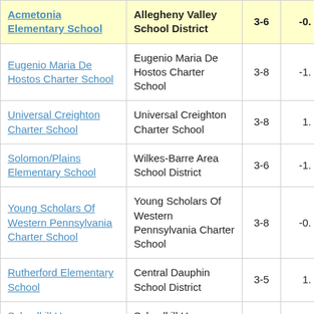| School | District | Grades | Score |
| --- | --- | --- | --- |
| Acmetonia Elementary School | Allegheny Valley School District | 3-6 | -0. |
| Eugenio Maria De Hostos Charter School | Eugenio Maria De Hostos Charter School | 3-8 | -1. |
| Universal Creighton Charter School | Universal Creighton Charter School | 3-8 | 1. |
| Solomon/Plains Elementary School | Wilkes-Barre Area School District | 3-6 | -1. |
| Young Scholars Of Western Pennsylvania Charter School | Young Scholars Of Western Pennsylvania Charter School | 3-8 | -0. |
| Rutherford Elementary School | Central Dauphin School District | 3-5 | 1. |
| Schuylkill Haven | Schuylkill Haven |  |  |